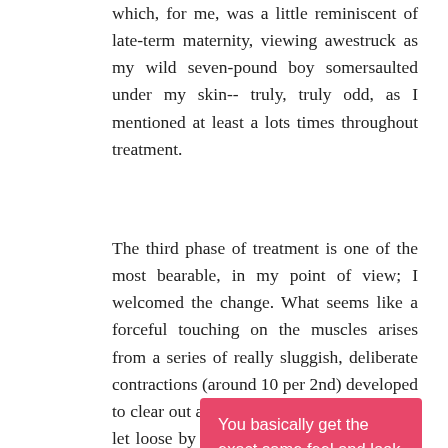which, for me, was a little reminiscent of late-term maternity, viewing awestruck as my wild seven-pound boy somersaulted under my skin-- truly, truly odd, as I mentioned at least a lots times throughout treatment.
The third phase of treatment is one of the most bearable, in my point of view; I welcomed the change. What seems like a forceful touching on the muscles arises from a series of really sluggish, deliberate contractions (around 10 per 2nd) developed to clear out any kind of toxins or lactic acid let loose by taxed-to-the-max muscles, "so there's no build-up, and also none of the risks of over-exercising," says Akhavan. And also, honestly, none of the pain either. I'm writing this 24 hr post-treatment, as well as feel zero pain.
You basically get the exact same feel and look that originates from